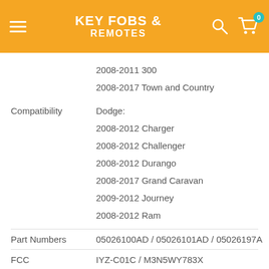KEY FOBS & REMOTES
|  |  |
| --- | --- |
|  | 2008-2011 300 |
|  | 2008-2017 Town and Country |
|  | Dodge: |
| Compatibility | 2008-2012 Charger |
|  | 2008-2012 Challenger |
|  | 2008-2012 Durango |
|  | 2008-2017 Grand Caravan |
|  | 2009-2012 Journey |
|  | 2008-2012 Ram |
| Part Numbers | 05026100AD / 05026101AD / 05026197A |
| FCC | IYZ-C01C / M3N5WY783X |